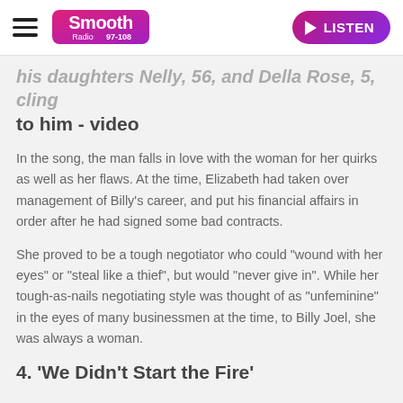Smooth Radio 97-108 | LISTEN
his daughters Nelly, 56, and Della Rose, 5, cling to him - video
In the song, the man falls in love with the woman for her quirks as well as her flaws. At the time, Elizabeth had taken over management of Billy’s career, and put his financial affairs in order after he had signed some bad contracts.
She proved to be a tough negotiator who could "wound with her eyes" or "steal like a thief", but would "never give in". While her tough-as-nails negotiating style was thought of as "unfeminine" in the eyes of many businessmen at the time, to Billy Joel, she was always a woman.
4. 'We Didn't Start the Fire'